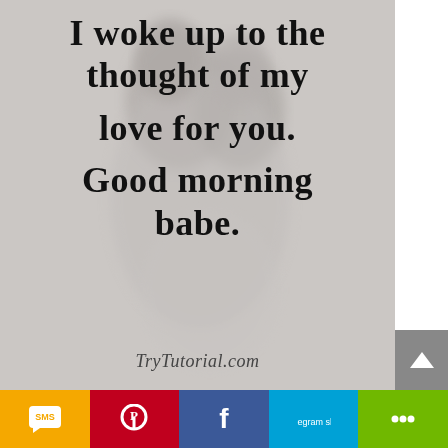[Figure (illustration): Inspirational quote graphic with a blurred couple embracing in the background. Text reads: I woke up to the thought of my love for you. Good morning babe. Watermark: TryTutorial.com]
I woke up to the thought of my love for you. Good morning babe.
TryTutorial.com